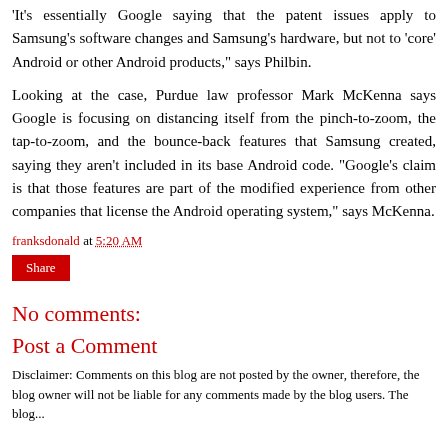'It's essentially Google saying that the patent issues apply to Samsung's software changes and Samsung's hardware, but not to 'core' Android or other Android products," says Philbin.
Looking at the case, Purdue law professor Mark McKenna says Google is focusing on distancing itself from the pinch-to-zoom, the tap-to-zoom, and the bounce-back features that Samsung created, saying they aren't included in its base Android code. "Google's claim is that those features are part of the modified experience from other companies that license the Android operating system," says McKenna.
franksdonald at 5:20 AM
Share
No comments:
Post a Comment
Disclaimer: Comments on this blog are not posted by the owner, therefore, the blog owner will not be liable for any comments made by the blog users. The blog...